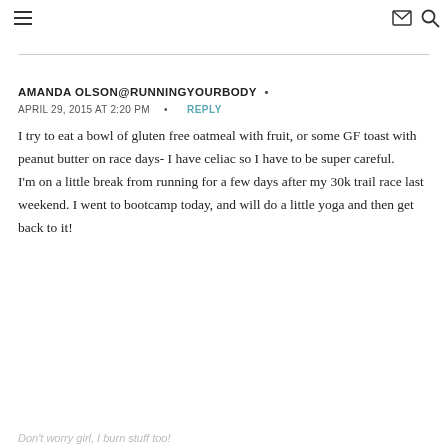≡  ✉ 🔍
AMANDA OLSON@RUNNINGYOURBODY •
APRIL 29, 2015 AT 2:20 PM  •  REPLY
I try to eat a bowl of gluten free oatmeal with fruit, or some GF toast with peanut butter on race days- I have celiac so I have to be super careful.
I'm on a little break from running for a few days after my 30k trail race last weekend. I went to bootcamp today, and will do a little yoga and then get back to it!
Don't worry girl, I burn stuff too!